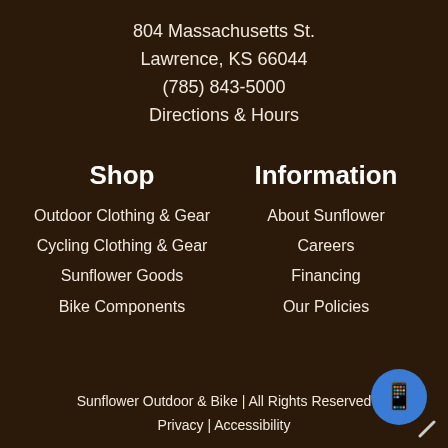804 Massachusetts St.
Lawrence, KS 66044
(785) 843-5000
Directions & Hours
Shop
Outdoor Clothing & Gear
Cycling Clothing & Gear
Sunflower Goods
Bike Components
Information
About Sunflower
Careers
Financing
Our Policies
Sunflower Outdoor & Bike | All Rights Reserved
Privacy | Accessibility